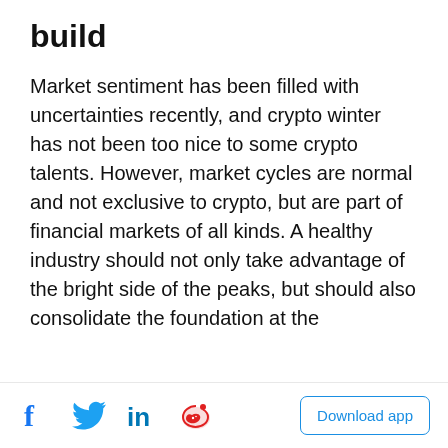build
Market sentiment has been filled with uncertainties recently, and crypto winter has not been too nice to some crypto talents. However, market cycles are normal and not exclusive to crypto, but are part of financial markets of all kinds. A healthy industry should not only take advantage of the bright side of the peaks, but should also consolidate the foundation at the
[Figure (infographic): Blue popup promotional banner for cryptocurrency exchange. Title: 'Buy & Sell Crypto With Fiat'. Subtitle: 'Buy your first Bitcoin within minutes. Supporting 20+ fiat currencies.' Button: 'Sign up/Login →'. Close button (×) in top right.]
Facebook, Twitter, LinkedIn, Weibo social icons | Download app button